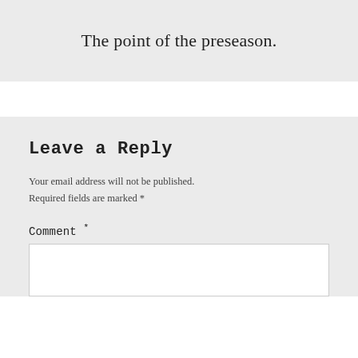The point of the preseason.
Leave a Reply
Your email address will not be published. Required fields are marked *
Comment *